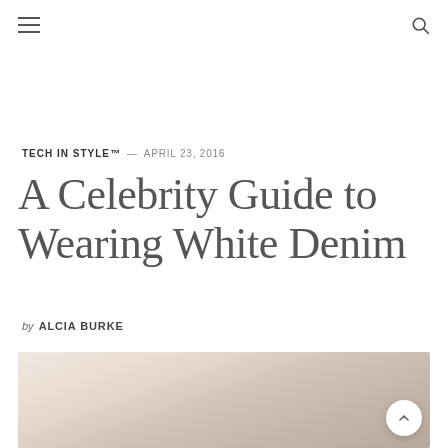TECH IN STYLE™ — APRIL 23, 2016
A Celebrity Guide to Wearing White Denim
by ALCIA BURKE
[Figure (photo): Blurred/soft-focus background image, pinkish-beige tones, appears to be a fashion or lifestyle photograph used as a hero image for the article about white denim.]